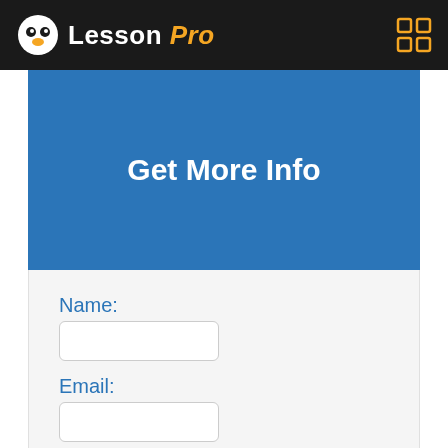Lesson Pro
Get More Info
Name:
Email:
Phone: